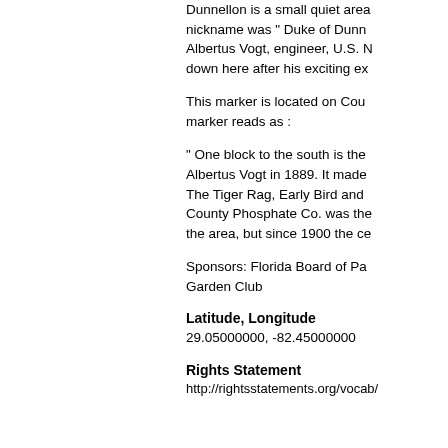Dunnellon is a small quiet area... nickname was " Duke of Dunn... Albertus Vogt, engineer, U.S. N... down here after his exciting ex...
This marker is located on Cou... marker reads as :
" One block to the south is the... Albertus Vogt in 1889. It made... The Tiger Rag, Early Bird and ... County Phosphate Co. was the... the area, but since 1900 the ce...
Sponsors: Florida Board of Pa... Garden Club
Latitude, Longitude
29.05000000, -82.45000000
Rights Statement
http://rightsstatements.org/vocab/